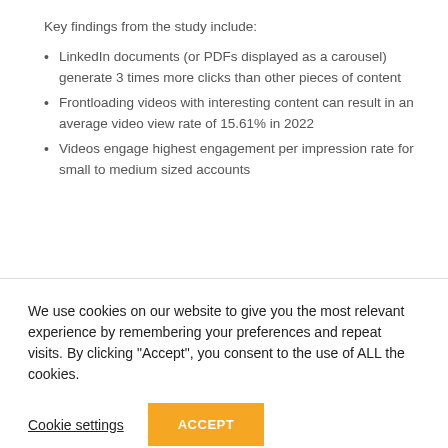Key findings from the study include:
LinkedIn documents (or PDFs displayed as a carousel) generate 3 times more clicks than other pieces of content
Frontloading videos with interesting content can result in an average video view rate of 15.61% in 2022
Videos engage highest engagement per impression rate for small to medium sized accounts
We use cookies on our website to give you the most relevant experience by remembering your preferences and repeat visits. By clicking “Accept”, you consent to the use of ALL the cookies.